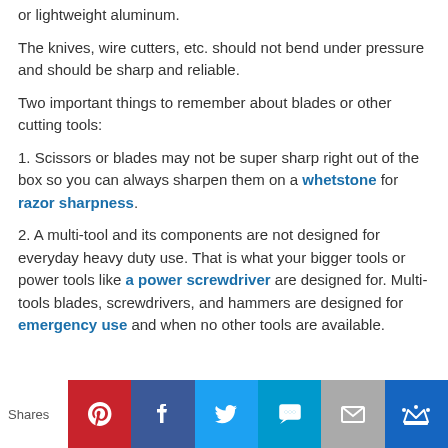or lightweight aluminum.
The knives, wire cutters, etc. should not bend under pressure and should be sharp and reliable.
Two important things to remember about blades or other cutting tools:
1. Scissors or blades may not be super sharp right out of the box so you can always sharpen them on a whetstone for razor sharpness.
2. A multi-tool and its components are not designed for everyday heavy duty use. That is what your bigger tools or power tools like a power screwdriver are designed for. Multi-tools blades, screwdrivers, and hammers are designed for emergency use and when no other tools are available.
[Figure (infographic): Social sharing bar with Shares label and icons for Pinterest, Facebook, Twitter, SMS, Email, and Crown/Monarch buttons]